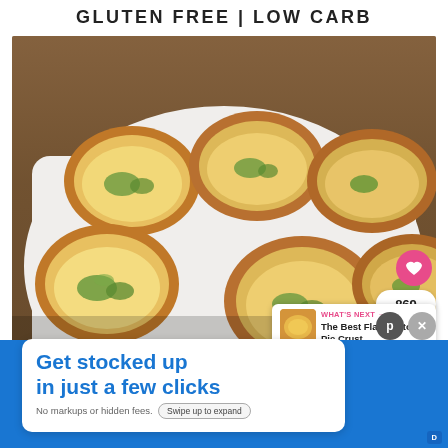GLUTEN FREE | LOW CARB
[Figure (photo): Mini crustless quiches or egg muffins with spinach and cheese on a white rectangular plate, placed on a wooden surface. Golden-brown edges visible.]
869
WHAT'S NEXT → The Best Flaky Keto Pie Crust
Get stocked up in just a few clicks
No markups or hidden fees.
Swipe up to expand